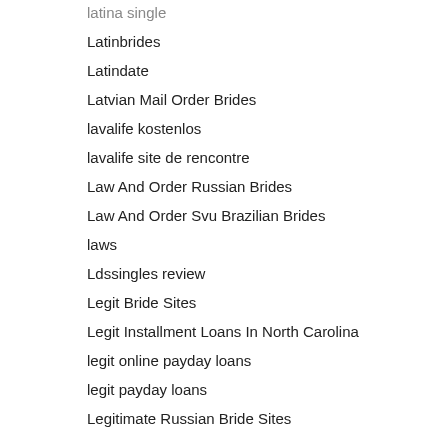latina single
Latinbrides
Latindate
Latvian Mail Order Brides
lavalife kostenlos
lavalife site de rencontre
Law And Order Russian Brides
Law And Order Svu Brazilian Brides
laws
Ldssingles review
Legit Bride Sites
Legit Installment Loans In North Carolina
legit online payday loans
legit payday loans
Legitimate Russian Bride Sites